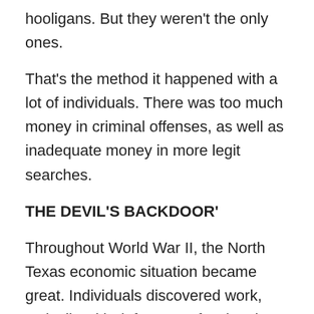hooligans. But they weren't the only ones.
That's the method it happened with a lot of individuals. There was too much money in criminal offenses, as well as inadequate money in more legit searches.
THE DEVIL'S BACKDOOR'
Throughout World War II, the North Texas economic situation became great. Individuals discovered work, typically with defense professionals, as well as the swirling criminal offense scene calmed down.
It was the economic situation in other places that assisted to pull people out of West Dallas, sadly West Dallas still got left behind.